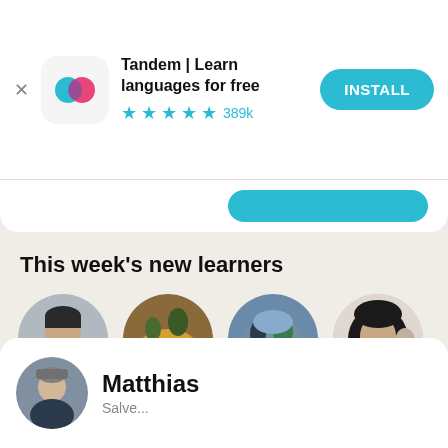[Figure (screenshot): Tandem app advertisement banner with app icon, title, star rating, and install button]
Tandem | Learn languages for free
★★★★½ 389k
This week's new learners
[Figure (photo): Profile photo of Albert - young man with short hair]
Albert
[Figure (photo): Profile photo of Thalia - group photo with food]
Thalia
[Figure (photo): Profile photo of Andreja - outdoor scene]
Andreja
[Figure (photo): Profile photo of yumeng - person wearing hijab]
yumeng
Matthias